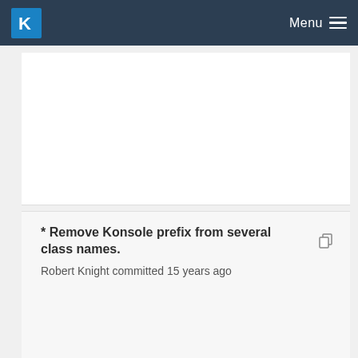Menu
* Remove Konsole prefix from several class names.
Robert Knight committed 15 years ago